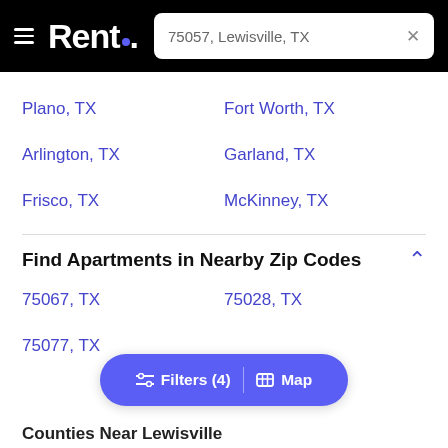Rent. — 75057, Lewisville, TX
Plano, TX
Fort Worth, TX
Arlington, TX
Garland, TX
Frisco, TX
McKinney, TX
Find Apartments in Nearby Zip Codes
75067, TX
75028, TX
75077, TX
Counties Near Lewisville